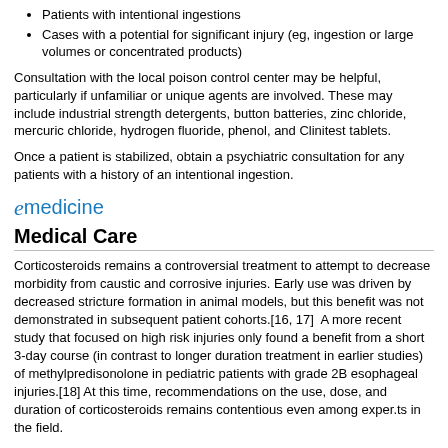Patients with intentional ingestions
Cases with a potential for significant injury (eg, ingestion or large volumes or concentrated products)
Consultation with the local poison control center may be helpful, particularly if unfamiliar or unique agents are involved. These may include industrial strength detergents, button batteries, zinc chloride, mercuric chloride, hydrogen fluoride, phenol, and Clinitest tablets.
Once a patient is stabilized, obtain a psychiatric consultation for any patients with a history of an intentional ingestion.
[Figure (logo): eMedicine logo with stylized italic 'e' and 'medicine' text in blue]
Medical Care
Corticosteroids remains a controversial treatment to attempt to decrease morbidity from caustic and corrosive injuries. Early use was driven by decreased stricture formation in animal models, but this benefit was not demonstrated in subsequent patient cohorts.[16, 17]  A more recent study that focused on high risk injuries only found a benefit from a short 3-day course (in contrast to longer duration treatment in earlier studies) of methylpredisonolone in pediatric patients with grade 2B esophageal injuries.[18] At this time, recommendations on the use, dose, and duration of corticosteroids remains contentious even among exper.ts in the field.
[Figure (logo): eMedicine logo with stylized italic 'e' and 'medicine' text in blue]
Surgical Care